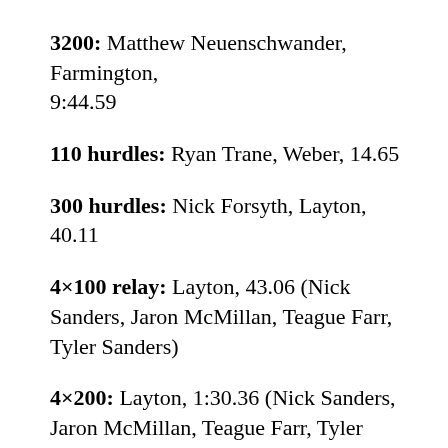3200: Matthew Neuenschwander, Farmington, 9:44.59
110 hurdles: Ryan Trane, Weber, 14.65
300 hurdles: Nick Forsyth, Layton, 40.11
4×100 relay: Layton, 43.06 (Nick Sanders, Jaron McMillan, Teague Farr, Tyler Sanders)
4×200: Layton, 1:30.36 (Nick Sanders, Jaron McMillan, Teague Farr, Tyler Sanders)
4×400: Syracuse, 3:24.30 (Noah Horne, Jaren Arnold, Dashaun Wise, Jaron Murri)
4×800: Farmington, 7:52.75 (Matthew Neuenschwander, Ryan Bennett, Trevor Nelson,